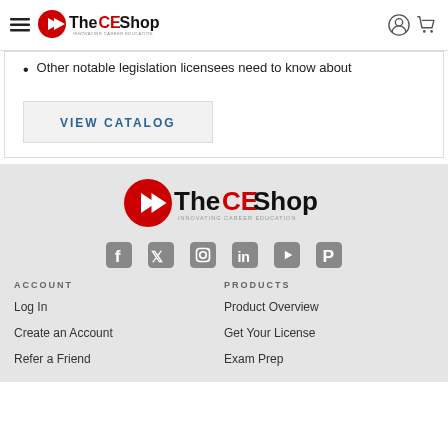The CE Shop — Innovating Career Education
Other notable legislation licensees need to know about
VIEW CATALOG
[Figure (logo): The CE Shop logo — large version in footer]
[Figure (infographic): Social media icons: Facebook, Twitter, Instagram, LinkedIn, YouTube, Pinterest]
ACCOUNT
Log In
Create an Account
Refer a Friend
PRODUCTS
Product Overview
Get Your License
Exam Prep